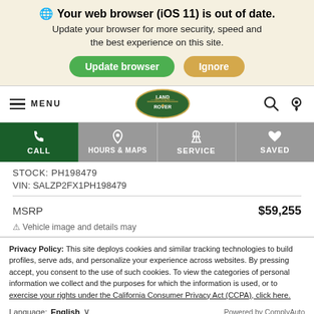Your web browser (iOS 11) is out of date. Update your browser for more security, speed and the best experience on this site.
[Figure (screenshot): Land Rover navigation bar with hamburger menu, MENU text, Land Rover oval logo, search icon, and location pin icon]
[Figure (screenshot): Action tabs row: CALL (green, active), HOURS & MAPS, SERVICE, SAVED]
STOCK: PH198479
VIN: SALZP2FX1PH198479
MSRP   $59,255
Privacy Policy: This site deploys cookies and similar tracking technologies to build profiles, serve ads, and personalize your experience across websites. By pressing accept, you consent to the use of such cookies. To view the categories of personal information we collect and the purposes for which the information is used, or to exercise your rights under the California Consumer Privacy Act (CCPA), click here.
Language: English    Powered by ComplyAuto
Accept and Continue →    California Privacy Disclosures    ✕